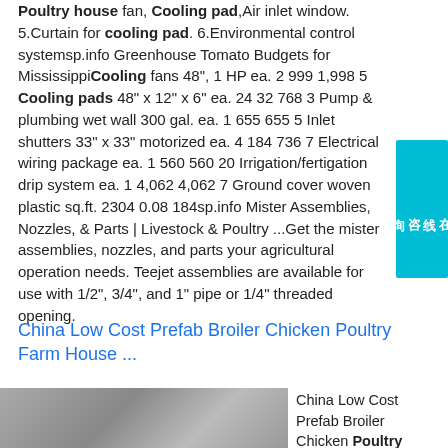Poultry house fan, Cooling pad, Air inlet window. 5.Curtain for cooling pad. 6.Environmental control systemsp.info Greenhouse Tomato Budgets for MississippiCooling fans 48", 1 HP ea. 2 999 1,998 5 Cooling pads 48" x 12" x 6" ea. 24 32 768 3 Pump & plumbing wet wall 300 gal. ea. 1 655 655 5 Inlet shutters 33" x 33" motorized ea. 4 184 736 7 Electrical wiring package ea. 1 560 560 20 Irrigation/fertigation drip system ea. 1 4,062 4,062 7 Ground cover woven plastic sq.ft. 2304 0.08 184sp.info Mister Assemblies, Nozzles, & Parts | Livestock & Poultry ...Get the mister assemblies, nozzles, and parts your agricultural operation needs. Teejet assemblies are available for use with 1/2", 3/4", and 1" pipe or 1/4" threaded opening.
China Low Cost Prefab Broiler Chicken Poultry Farm House ...
China Low Cost Prefab Broiler Chicken Poultry